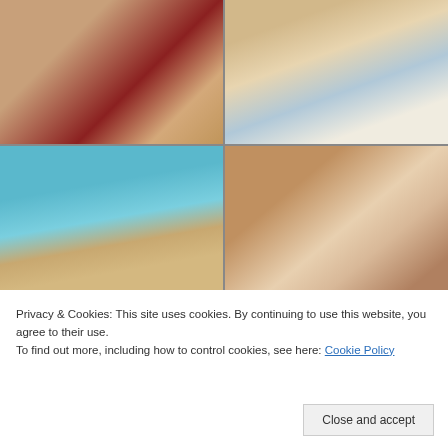[Figure (photo): Person seated on a red armchair, indoor setting with wooden floor]
[Figure (photo): Person reclining by a poolside or terrace, light background]
[Figure (photo): Person standing by a swimming pool with arms outstretched, outdoor setting]
[Figure (photo): Close-up of fabric or clothing detail with ruffled texture, warm tones]
Privacy & Cookies: This site uses cookies. By continuing to use this website, you agree to their use.
To find out more, including how to control cookies, see here: Cookie Policy
Close and accept